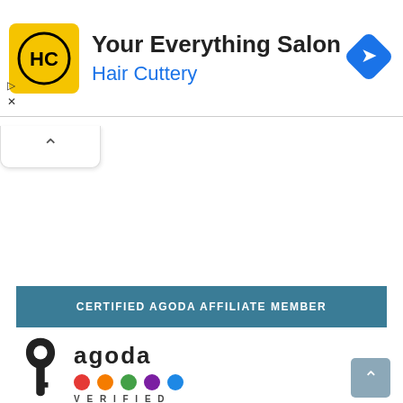[Figure (screenshot): Hair Cuttery advertisement banner with yellow square logo showing HC initials, text 'Your Everything Salon' and 'Hair Cuttery' in blue, blue diamond navigation icon on right, and ad markers (triangle and X) on left side]
[Figure (screenshot): Collapse/minimize button with upward chevron arrow]
CERTIFIED AGODA AFFILIATE MEMBER
[Figure (logo): Agoda Verified Affiliate logo with black key icon, 'agoda' text in bold, five colored dots (red, orange, green, purple, blue), and text 'VERIFIED AFFILIATE']
[Figure (screenshot): Scroll to top button with upward chevron arrow]